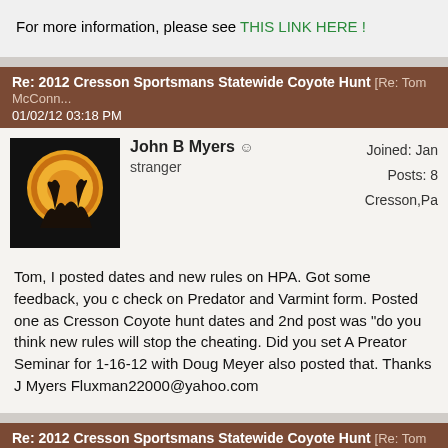For more information, please see THIS LINK HERE !
Re: 2012 Cresson Sportsmans Statewide Coyote Hunt [Re: Tom McConn... 01/02/12 03:18 PM
John B Myers stranger | Joined: Jan | Posts: 8 | Cresson,Pa
Tom, I posted dates and new rules on HPA. Got some feedback, you check on Predator and Varmint form. Posted one as Cresson Coyote hunt dates and 2nd post was "do you think new rules will stop the cheating. Did you set A Preator Seminar for 1-16-12 with Doug Meyer also posted that. Thanks J Myers Fluxman22000@yahoo.com
Re: 2012 Cresson Sportsmans Statewide Coyote Hunt [Re: Tom McConn... 01/02/12 03:20 PM
John B Myers stranger | Joined: Jan | Posts: 8 | Cresson,Pa